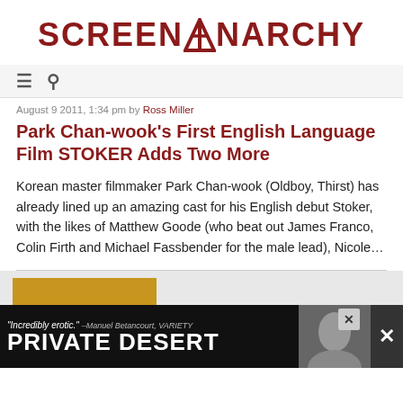[Figure (logo): Screen Anarchy logo in dark red with anarchy symbol in the letter A]
≡  🔍
August 9 2011, 1:34 pm by Ross Miller
Park Chan-wook's First English Language Film STOKER Adds Two More
Korean master filmmaker Park Chan-wook (Oldboy, Thirst) has already lined up an amazing cast for his English debut Stoker, with the likes of Matthew Goode (who beat out James Franco, Colin Firth and Michael Fassbender for the male lead), Nicole…
[Figure (photo): Yellow/gold thumbnail image showing partial text THE in bold black letters]
[Figure (screenshot): Advertisement banner for Private Desert. Includes quote 'Incredibly erotic.' - Manuel Betancourt, VARIETY and large text PRIVATE DESERT with photo of woman and close button.]